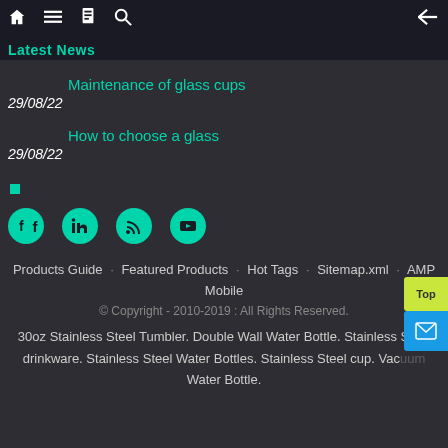Latest News
Maintenance of glass cups
29/08/22
How to choose a glass
29/08/22
[Figure (other): Social media icons: Facebook, LinkedIn, RSS, YouTube — teal circular icons]
Products Guide · Featured Products · Hot Tags · Sitemap.xml · AMP Mobile © Copyright - 2010-2019 : All Rights Reserved. 30oz Stainless Steel Tumbler. Double Wall Water Bottle. Stainless Steel drinkware. Stainless Steel Water Bottles. Stainless Steel cup. Vacuum Water Bottle.